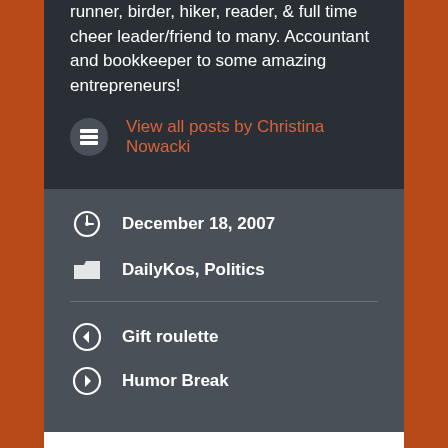runner, birder, hiker, reader, & full time cheer leader/friend to many. Accountant and bookkeeper to some amazing entrepreneurs!
View all posts by Christina Nowacki
December 18, 2007
DailyKos, Politics
Gift roulette
Humor Break
2 thoughts on “This is going to be fun!”